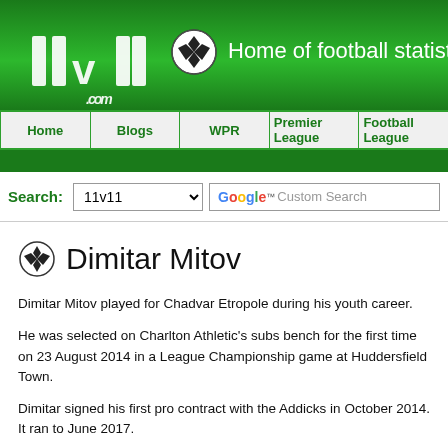11v11.com – Home of football statistics ar...
[Figure (logo): 11v11.com logo with football icon and tagline 'Home of football statistics ar...']
Navigation: Home | Blogs | WPR | Premier League | Football League
[Figure (screenshot): Search bar with 11v11 dropdown and Google Custom Search box]
Dimitar Mitov
Dimitar Mitov played for Chadvar Etropole during his youth career.
He was selected on Charlton Athletic's subs bench for the first time on 23 August 2014 in a League Championship game at Huddersfield Town.
Dimitar signed his first pro contract with the Addicks in October 2014. It ran to June 2017.
He joined Cambridge United in July 2017 with a two-year contract that was extended to June 2021 in May 2018.
Club history: